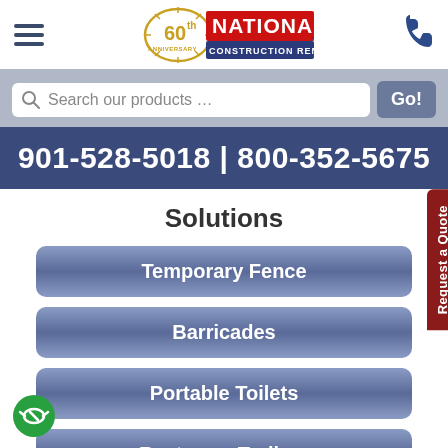[Figure (logo): National Construction Rentals 60th Anniversary logo with golden circular emblem and red/white text]
Search our products …
901-528-5018 | 800-352-5675
Solutions
Temporary Fence
Barricades
Portable Toilets
Restroom Trailers
Request a Quote